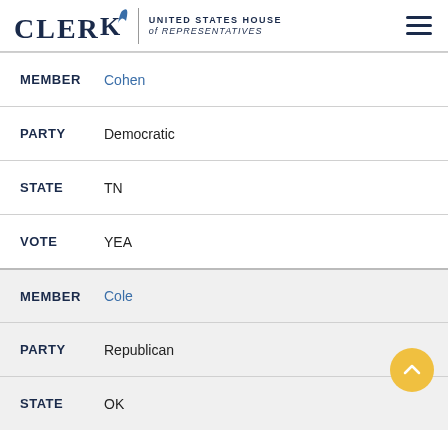CLERK | UNITED STATES HOUSE of REPRESENTATIVES
MEMBER Cohen
PARTY Democratic
STATE TN
VOTE YEA
MEMBER Cole
PARTY Republican
STATE OK